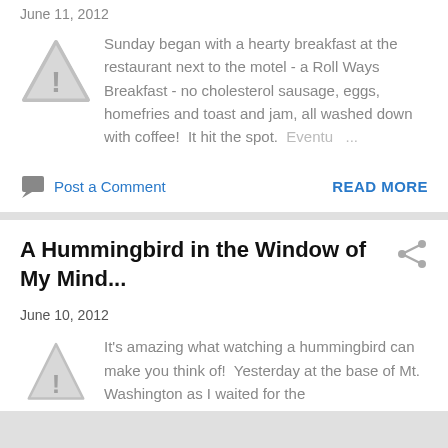June 11, 2012
[Figure (illustration): Warning triangle icon with exclamation mark, gray color]
Sunday began with a hearty breakfast at the restaurant next to the motel - a Roll Ways Breakfast - no cholesterol sausage, eggs, homefries and toast and jam, all washed down with coffee!  It hit the spot.  Eventu ...
Post a Comment
READ MORE
A Hummingbird in the Window of My Mind...
June 10, 2012
[Figure (illustration): Warning triangle icon with exclamation mark, gray color, partially visible]
It's amazing what watching a hummingbird can make you think of!  Yesterday at the base of Mt. Washington as I waited for the